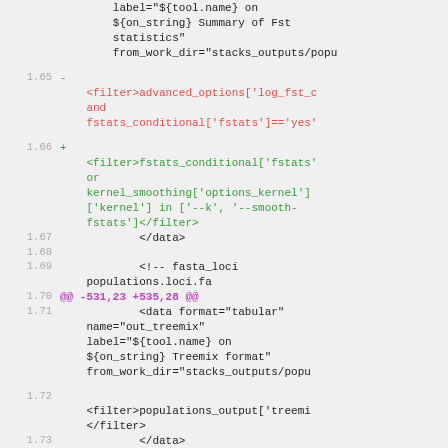Code diff showing XML configuration changes including filter and data elements for fasta_loci populations.loci.fa and treemix output formats
[Figure (screenshot): Code diff view showing XML file changes with line numbers, red deleted lines, green added lines, and purple diff hunk markers]